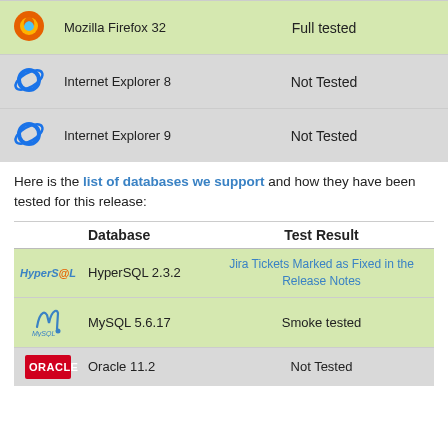| Icon | Browser | Test Result |
| --- | --- | --- |
| [Firefox icon] | Mozilla Firefox 32 | Full tested |
| [IE icon] | Internet Explorer 8 | Not Tested |
| [IE icon] | Internet Explorer 9 | Not Tested |
Here is the list of databases we support and how they have been tested for this release:
| Icon | Database | Test Result |
| --- | --- | --- |
| [HyperSQL logo] | HyperSQL 2.3.2 | Jira Tickets Marked as Fixed in the Release Notes |
| [MySQL logo] | MySQL 5.6.17 | Smoke tested |
| [Oracle logo] | Oracle 11.2 | Not Tested |